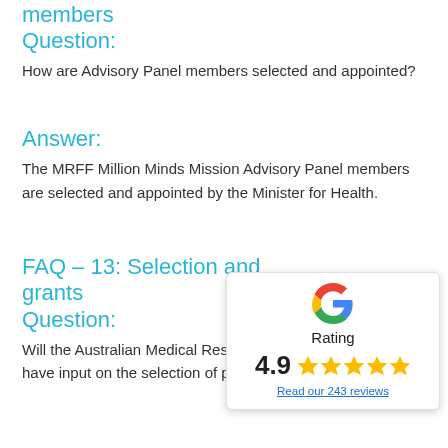members
Question:
How are Advisory Panel members selected and appointed?
Answer:
The MRFF Million Minds Mission Advisory Panel members are selected and appointed by the Minister for Health.
FAQ – 13: Selection and grants
Question:
Will the Australian Medical Research have input on the selection of prefer.
[Figure (infographic): Google rating widget showing 4.9 stars with 243 reviews]